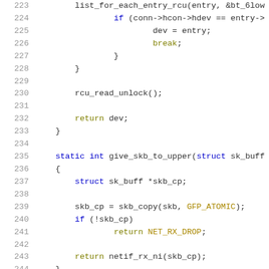Source code listing lines 223-244, C language kernel code snippet
223    list_for_each_entry_rcu(entry, &bt_6low
224        if (conn->hcon->hdev == entry->
225            dev = entry;
226            break;
227        }
228    }
229
230    rcu_read_unlock();
231
232    return dev;
233 }
234
235 static int give_skb_to_upper(struct sk_buff *sk
236 {
237    struct sk_buff *skb_cp;
238
239    skb_cp = skb_copy(skb, GFP_ATOMIC);
240    if (!skb_cp)
241        return NET_RX_DROP;
242
243    return netif_rx_ni(skb_cp);
244 }